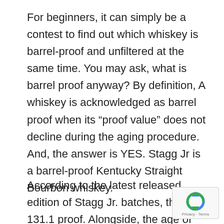For beginners, it can simply be a contest to find out which whiskey is barrel-proof and unfiltered at the same time. You may ask, what is barrel proof anyway? By definition, A whiskey is acknowledged as barrel proof when its “proof value” does not decline during the aging procedure. And, the answer is YES. Stagg Jr is a barrel-proof Kentucky Straight Bourbon whiskey.
According to the latest released edition of Stagg Jr. batches, they are 131.1 proof. Alongside, the age of SJ is a minimum of eight years. Stagg Jr. barrel proof makes it a better choice of whiskey because it has a hardcore finishing with a complete